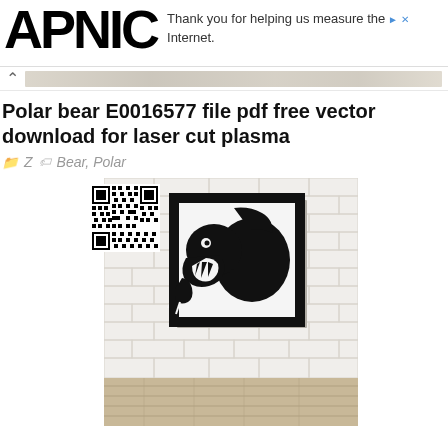APNIC
Thank you for helping us measure the Internet.
Polar bear E0016577 file pdf free vector download for laser cut plasma
Z  Bear, Polar
[Figure (photo): Product photo showing a black metal laser-cut polar bear wall art piece mounted on a white brick wall, with a QR code in the upper left corner of the image. The artwork is a square framed silhouette of a roaring bear. The scene includes a wooden floor at the bottom.]